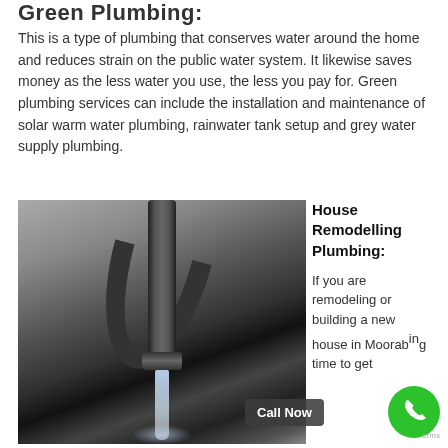Green Plumbing:
This is a type of plumbing that conserves water around the home and reduces strain on the public water system. It likewise saves money as the less water you use, the less you pay for. Green plumbing services can include the installation and maintenance of solar warm water plumbing, rainwater tank setup and grey water supply plumbing.
[Figure (photo): Black and white close-up photo of a faucet tap running water, with water droplets and splash visible.]
House Remodelling Plumbing:
If you are remodeling or building a new house in Moorab... time to get